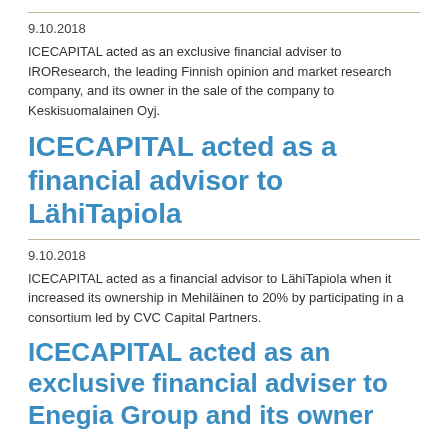9.10.2018
ICECAPITAL acted as an exclusive financial adviser to IROResearch, the leading Finnish opinion and market research company, and its owner in the sale of the company to Keskisuomalainen Oyj.
ICECAPITAL acted as a financial advisor to LähiTapiola
9.10.2018
ICECAPITAL acted as a financial advisor to LähiTapiola when it increased its ownership in Mehiläinen to 20% by participating in a consortium led by CVC Capital Partners.
ICECAPITAL acted as an exclusive financial adviser to Enegia Group and its owner